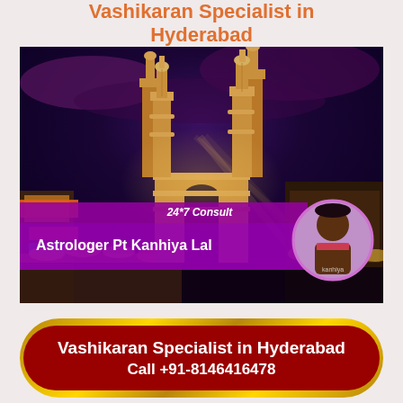Vashikaran Specialist in Hyderabad
[Figure (photo): Night-time photograph of Charminar monument in Hyderabad with illuminated minarets, busy market street in foreground with colorful shop signs, dramatic purple-red sky. Overlaid with purple banner showing '24*7 Consult' and 'Astrologer Pt Kanhiya Lal' text, with circular portrait photo of the astrologer on the right.]
Vashikaran Specialist in Hyderabad
Call +91-8146416478